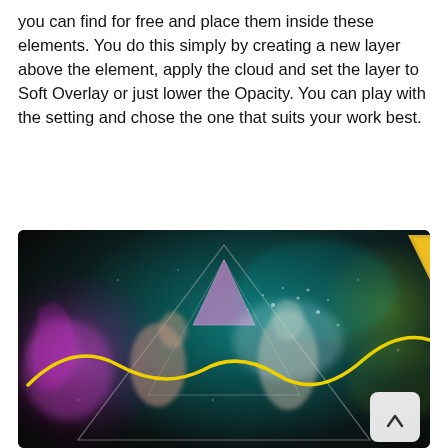you can find for free and place them inside these elements. You do this simply by creating a new layer above the element, apply the cloud and set the layer to Soft Overlay or just lower the Opacity. You can play with the setting and chose the one that suits your work best.
[Figure (photo): Dark artistic photo showing a person with geometric triangle shapes overlaid, yellow wavy line element, pink/magenta ink or smoke on the left side, and water splash effects. Teal/cyan toned background with particle effects. A scroll-to-top button appears in the bottom-right corner of the image.]